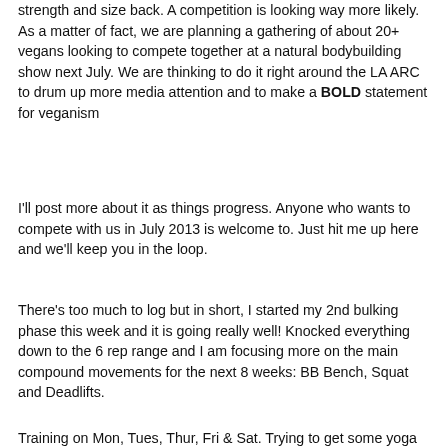strength and size back. A competition is looking way more likely. As a matter of fact, we are planning a gathering of about 20+ vegans looking to compete together at a natural bodybuilding show next July. We are thinking to do it right around the LA ARC to drum up more media attention and to make a BOLD statement for veganism
I'll post more about it as things progress. Anyone who wants to compete with us in July 2013 is welcome to. Just hit me up here and we'll keep you in the loop.
There's too much to log but in short, I started my 2nd bulking phase this week and it is going really well! Knocked everything down to the 6 rep range and I am focusing more on the main compound movements for the next 8 weeks: BB Bench, Squat and Deadlifts.
Training on Mon, Tues, Thur, Fri & Sat. Trying to get some yoga in